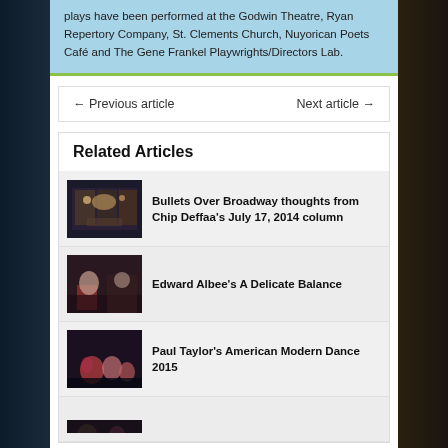plays have been performed at the Godwin Theatre, Ryan Repertory Company, St. Clements Church, Nuyorican Poets Café and The Gene Frankel Playwrights/Directors Lab.
← Previous article    Next article →
Related Articles
Bullets Over Broadway thoughts from Chip Deffaa's July 17, 2014 column
Edward Albee's A Delicate Balance
Paul Taylor's American Modern Dance 2015